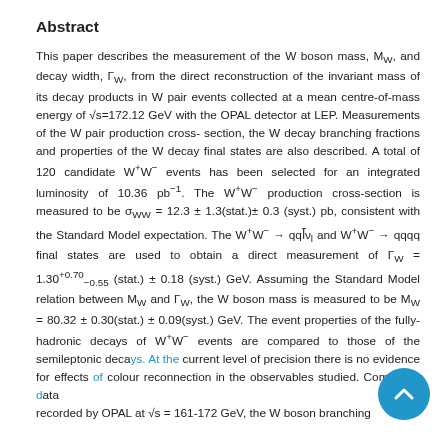Abstract
This paper describes the measurement of the W boson mass, M_W, and decay width, Γ_W, from the direct reconstruction of the invariant mass of its decay products in W pair events collected at a mean centre-of-mass energy of √s=172.12 GeV with the OPAL detector at LEP. Measurements of the W pair production cross-section, the W decay branching fractions and properties of the W decay final states are also described. A total of 120 candidate W⁺W⁻ events has been selected for an integrated luminosity of 10.36 pb⁻¹. The W⁺W⁻ production cross-section is measured to be σ_WW = 12.3 ± 1.3(stat.)± 0.3 (syst.) pb, consistent with the Standard Model expectation. The W⁺W⁻ → qql̄ν_l and W⁺W⁻ → qqqq final states are used to obtain a direct measurement of Γ_W = 1.30⁺⁰·⁷⁰₋₀.₅₅ (stat.) ± 0.18 (syst.) GeV. Assuming the Standard Model relation between M_W and Γ_W, the W boson mass is measured to be M_W = 80.32 ± 0.30(stat.) ± 0.09(syst.) GeV. The event properties of the fully-hadronic decays of W⁺W⁻ events are compared to those of the semileptonic decays. At the current level of precision there is no evidence for effects of colour reconnection in the observables studied. Combining data recorded by OPAL at √s = 161-172 GeV, the W boson branching...